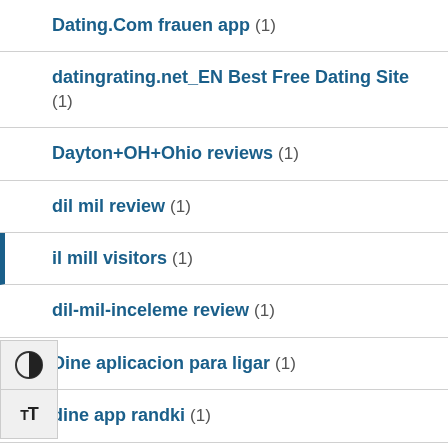Dating.Com frauen app (1)
datingrating.net_EN Best Free Dating Site (1)
Dayton+OH+Ohio reviews (1)
dil mil review (1)
il mill visitors (1)
dil-mil-inceleme review (1)
Dine aplicacion para ligar (1)
dine app randki (1)